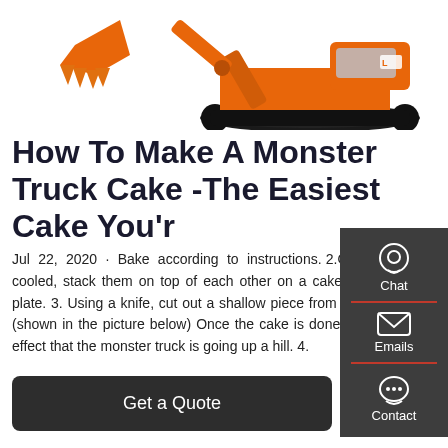[Figure (photo): Orange excavator/construction machine with bucket arm raised, on black tracks, white background]
How To Make A Monster Truck Cake -The Easiest Cake You'r
Jul 22, 2020 · Bake according to instructions. 2.Once cakes are cooled, stack them on top of each other on a cake stand or cake plate. 3. Using a knife, cut out a shallow piece from 1/4 of the cake (shown in the picture below) Once the cake is done, it will give the effect that the monster truck is going up a hill. 4.
[Figure (infographic): Sidebar overlay with Chat (headset icon), Emails (envelope icon with red underline), and Contact (speech bubble icon) buttons on dark grey background]
Get a Quote